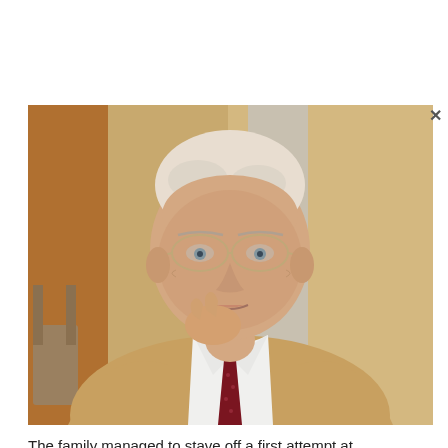[Figure (photo): Portrait photograph of an elderly man with white hair wearing glasses, a tan/beige suit jacket, white dress shirt, and dark red patterned tie. He is holding his hand near his chin in a thoughtful pose. The background is blurred with warm tones.]
The family managed to stave off a first attempt at expropriation by the Soviet occupying power in March 1946